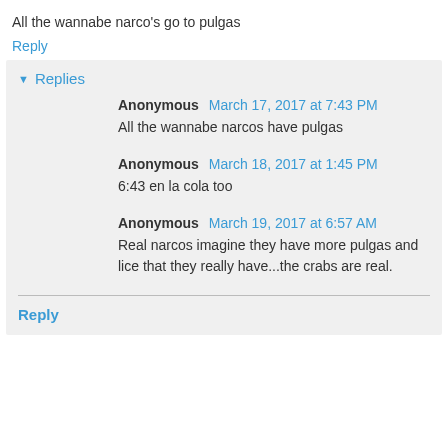All the wannabe narco's go to pulgas
Reply
▾ Replies
Anonymous March 17, 2017 at 7:43 PM
All the wannabe narcos have pulgas
Anonymous March 18, 2017 at 1:45 PM
6:43 en la cola too
Anonymous March 19, 2017 at 6:57 AM
Real narcos imagine they have more pulgas and lice that they really have...the crabs are real.
Reply